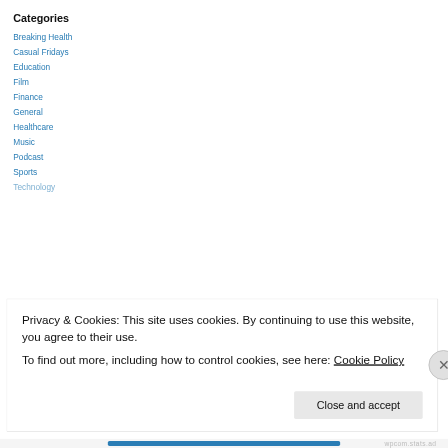Categories
Breaking Health
Casual Fridays
Education
Film
Finance
General
Healthcare
Music
Podcast
Sports
Technology
Privacy & Cookies: This site uses cookies. By continuing to use this website, you agree to their use.
To find out more, including how to control cookies, see here: Cookie Policy
Close and accept